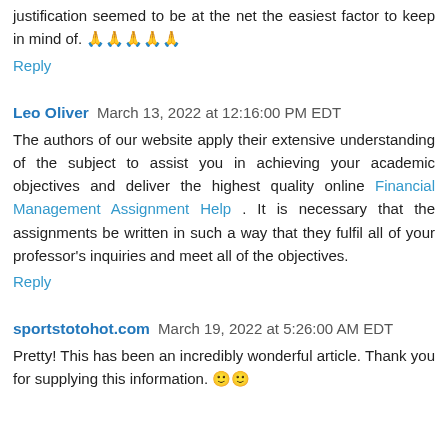justification seemed to be at the net the easiest factor to keep in mind of. 🙏🙏🙏🙏🙏
Reply
Leo Oliver  March 13, 2022 at 12:16:00 PM EDT
The authors of our website apply their extensive understanding of the subject to assist you in achieving your academic objectives and deliver the highest quality online Financial Management Assignment Help . It is necessary that the assignments be written in such a way that they fulfil all of your professor's inquiries and meet all of the objectives.
Reply
sportstotohot.com  March 19, 2022 at 5:26:00 AM EDT
Pretty! This has been an incredibly wonderful article. Thank you for supplying this information. 🙂🙂